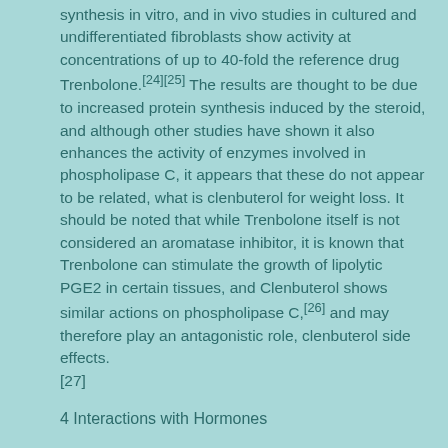synthesis in vitro, and in vivo studies in cultured and undifferentiated fibroblasts show activity at concentrations of up to 40-fold the reference drug Trenbolone.[24][25] The results are thought to be due to increased protein synthesis induced by the steroid, and although other studies have shown it also enhances the activity of enzymes involved in phospholipase C, it appears that these do not appear to be related, what is clenbuterol for weight loss. It should be noted that while Trenbolone itself is not considered an aromatase inhibitor, it is known that Trenbolone can stimulate the growth of lipolytic PGE2 in certain tissues, and Clenbuterol shows similar actions on phospholipase C,[26] and may therefore play an antagonistic role, clenbuterol side effects.[27]
4 Interactions with Hormones